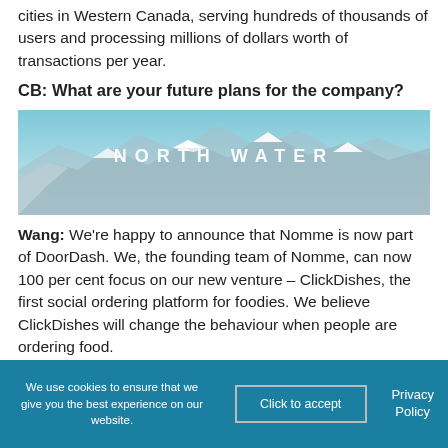cities in Western Canada, serving hundreds of thousands of users and processing millions of dollars worth of transactions per year.
CB: What are your future plans for the company?
[Figure (photo): Banner image showing snow-capped mountains with text 'NORTH WATER' overlaid in white letters across the sky.]
Wang: We're happy to announce that Nomme is now part of DoorDash. We, the founding team of Nomme, can now 100 per cent focus on our new venture – ClickDishes, the first social ordering platform for foodies. We believe ClickDishes will change the behaviour when people are ordering food.
We use cookies to ensure that we give you the best experience on our website. Click to accept Privacy Policy